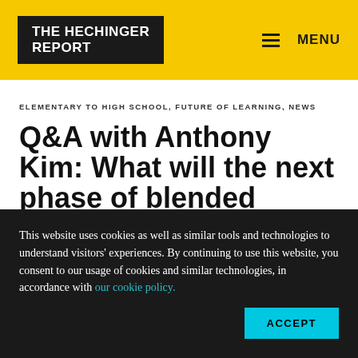THE HECHINGER REPORT | MENU
ELEMENTARY TO HIGH SCHOOL, FUTURE OF LEARNING, NEWS
Q&A with Anthony Kim: What will the next phase of blended learning look like?
This website uses cookies as well as similar tools and technologies to understand visitors' experiences. By continuing to use this website, you consent to our usage of cookies and similar technologies, in accordance with our cookie policy.